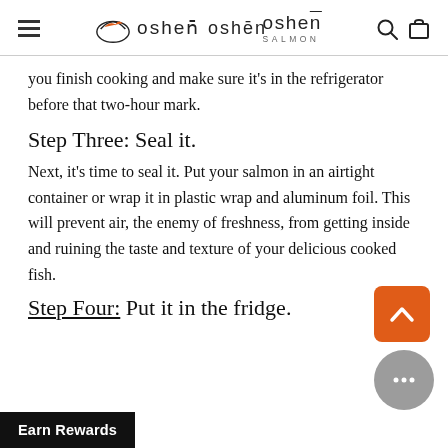oshen SALMON
you finish cooking and make sure it’s in the refrigerator before that two-hour mark.
Step Three: Seal it.
Next, it’s time to seal it. Put your salmon in an airtight container or wrap it in plastic wrap and aluminum foil. This will prevent air, the enemy of freshness, from getting inside and ruining the taste and texture of your delicious cooked fish.
Step Four: Put it in the fridge.